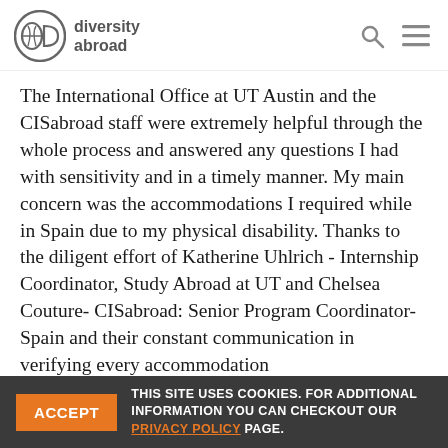diversity abroad
The International Office at UT Austin and the CISabroad staff were extremely helpful through the whole process and answered any questions I had with sensitivity and in a timely manner. My main concern was the accommodations I required while in Spain due to my physical disability. Thanks to the diligent effort of Katherine Uhlrich - Internship Coordinator, Study Abroad at UT and Chelsea Couture- CISabroad: Senior Program Coordinator- Spain and their constant communication in verifying every accommodation
THIS SITE USES COOKIES. FOR ADDITIONAL INFORMATION YOU CAN CHECKOUT OUR PRIVACY POLICY PAGE. ACCEPT